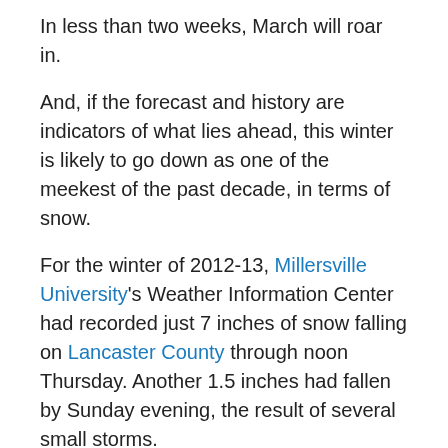In less than two weeks, March will roar in.
And, if the forecast and history are indicators of what lies ahead, this winter is likely to go down as one of the meekest of the past decade, in terms of snow.
For the winter of 2012-13, Millersville University's Weather Information Center had recorded just 7 inches of snow falling on Lancaster County through noon Thursday. Another 1.5 inches had fallen by Sunday evening, the result of several small storms.
Now consider this:
A warming trend is on the way, according to Accuweather.com, with high temperatures approaching 50 degrees expected by the time February turns to March.
Read...